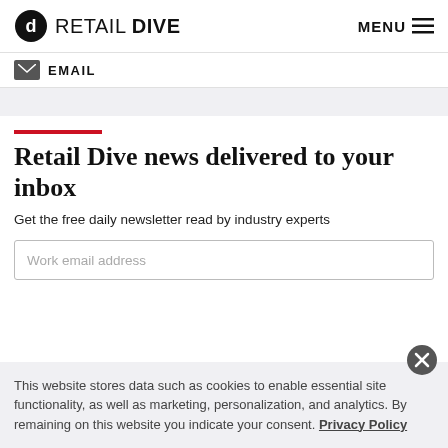RETAIL DIVE   MENU
EMAIL
Retail Dive news delivered to your inbox
Get the free daily newsletter read by industry experts
Work email address
This website stores data such as cookies to enable essential site functionality, as well as marketing, personalization, and analytics. By remaining on this website you indicate your consent. Privacy Policy